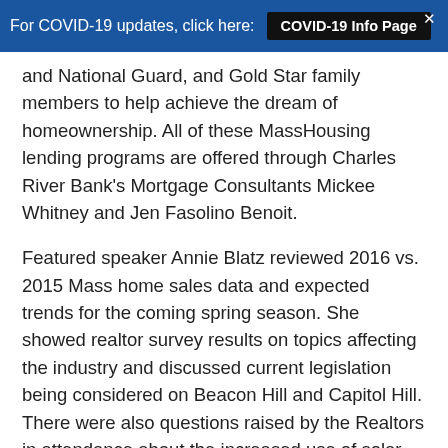For COVID-19 updates, click here: COVID-19 Info Page ×
and National Guard, and Gold Star family members to help achieve the dream of homeownership. All of these MassHousing lending programs are offered through Charles River Bank's Mortgage Consultants Mickee Whitney and Jen Fasolino Benoit.
Featured speaker Annie Blatz reviewed 2016 vs. 2015 Mass home sales data and expected trends for the coming spring season. She showed realtor survey results on topics affecting the industry and discussed current legislation being considered on Beacon Hill and Capitol Hill. There were also questions raised by the Realtors in attendance about the increased use of solar panels on homes and how this affects the selling process. The MAR breakfast was informative and will help the realtors successfully adapt to new trends in the housing market.